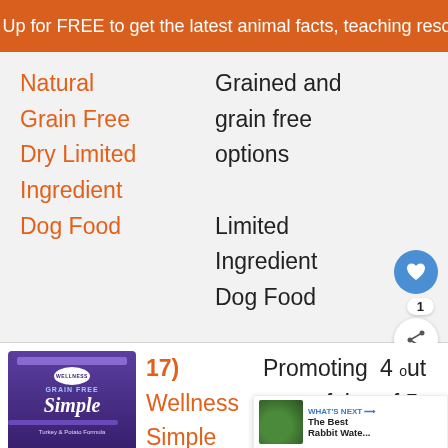Sign Up for FREE to get the latest animal facts, teaching resource
Natural
Grain Free
Dry Limited
Ingredient
Dog Food
Grained and
grain free
options
Limited
Ingredient
Dog Food
[Figure (photo): Wellness Simple canned dog food product image]
17)
Wellness
Simple
Natural
Promoting
peaceful
digestion
4 out
of 5